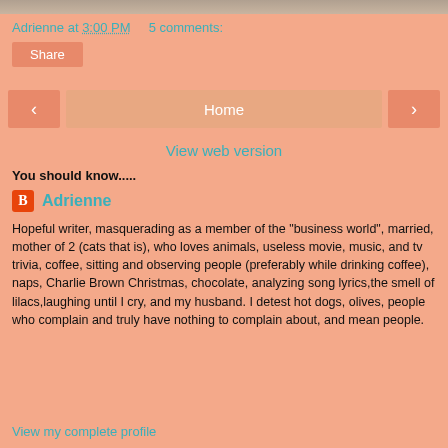[Figure (photo): Partial top image (cropped photo at top of page)]
Adrienne at 3:00 PM    5 comments:
Share
< Home >
View web version
You should know.....
Adrienne
Hopeful writer, masquerading as a member of the "business world", married, mother of 2 (cats that is), who loves animals, useless movie, music, and tv trivia, coffee, sitting and observing people (preferably while drinking coffee), naps, Charlie Brown Christmas, chocolate, analyzing song lyrics,the smell of lilacs,laughing until I cry, and my husband. I detest hot dogs, olives, people who complain and truly have nothing to complain about, and mean people.
View my complete profile